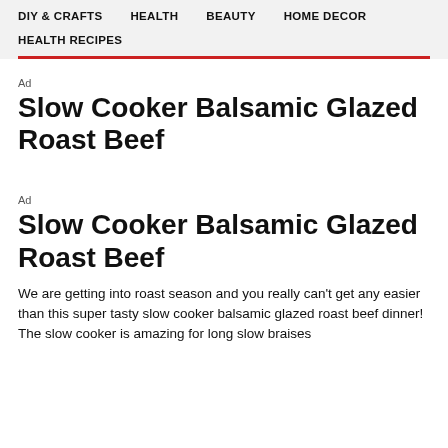DIY & CRAFTS   HEALTH   BEAUTY   HOME DECOR   HEALTH RECIPES
Ad
Slow Cooker Balsamic Glazed Roast Beef
Ad
Slow Cooker Balsamic Glazed Roast Beef
We are getting into roast season and you really can't get any easier than this super tasty slow cooker balsamic glazed roast beef dinner! The slow cooker is amazing for long slow braises